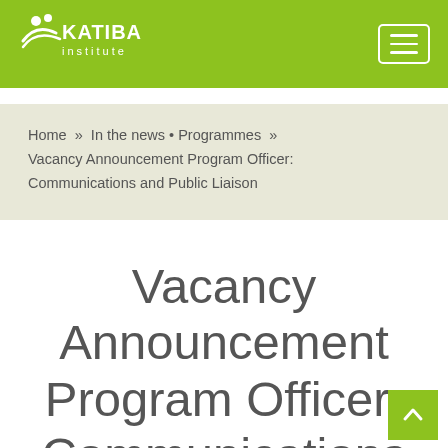Katiba Institute
Home » In the news • Programmes » Vacancy Announcement Program Officer: Communications and Public Liaison
Vacancy Announcement Program Officer: Communications and Public Liaison